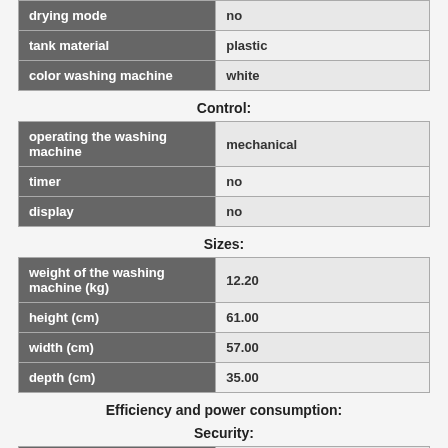| property | value |
| --- | --- |
| drying mode | no |
| tank material | plastic |
| color washing machine | white |
Control:
| property | value |
| --- | --- |
| operating the washing machine | mechanical |
| timer | no |
| display | no |
Sizes:
| property | value |
| --- | --- |
| weight of the washing machine (kg) | 12.20 |
| height (cm) | 61.00 |
| width (cm) | 57.00 |
| depth (cm) | 35.00 |
Efficiency and power consumption:
Security:
| property | value |
| --- | --- |
| protection from water leaks | no |